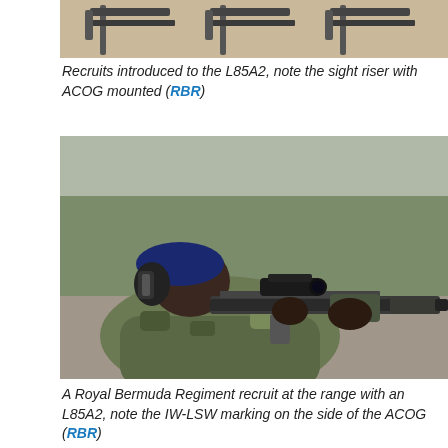[Figure (photo): Top portion of a photo showing rifles/weapons laid out on a surface]
Recruits introduced to the L85A2, note the sight riser with ACOG mounted (RBR)
[Figure (photo): A Royal Bermuda Regiment recruit in camouflage uniform and blue beret with hearing protection, aiming an L85A2 rifle fitted with an ACOG scope at a shooting range]
A Royal Bermuda Regiment recruit at the range with an L85A2, note the IW-LSW marking on the side of the ACOG (RBR)